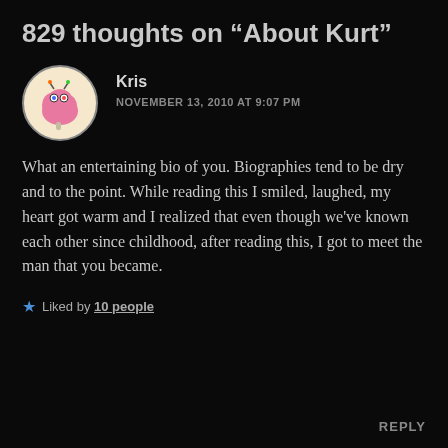829 thoughts on “About Kurt”
Kris
NOVEMBER 13, 2010 AT 9:07 PM
What an entertaining bio of you. Biographies tend to be dry and to the point. While reading this I smiled, laughed, my heart got warm and I realized that even though we've known each other since childhood, after reading this, I got to meet the man that you became.
★ Liked by 10 people
REPLY